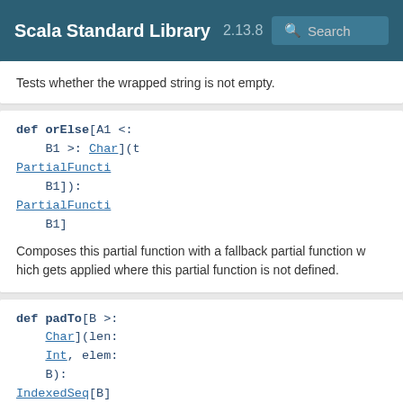Scala Standard Library 2.13.8 Search
Tests whether the wrapped string is not empty.
def orElse[A1 <: B1 >: Char](t PartialFuncti B1]): PartialFuncti B1]
Composes this partial function with a fallback partial function which gets applied where this partial function is not defined.
def padTo[B >: Char](len: Int, elem: B): IndexedSeq[B]